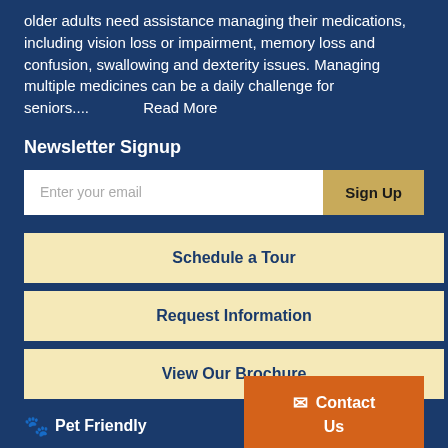older adults need assistance managing their medications, including vision loss or impairment, memory loss and confusion, swallowing and dexterity issues. Managing multiple medicines can be a daily challenge for seniors.... Read More
Newsletter Signup
[Figure (screenshot): Email signup form with text input 'Enter your email' and a gold 'Sign Up' button]
[Figure (screenshot): Three call-to-action buttons: 'Schedule a Tour', 'Request Information', 'View Our Brochure', all in pale yellow with dark blue bold text]
🐾 Pet Friendly
[Figure (screenshot): Orange Contact Us button with envelope icon in the bottom right corner]